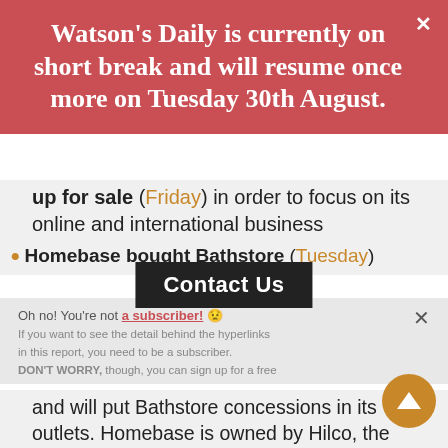Watson's Daily is currently on short break and will resume once more on Tuesday 30th August.
Contact Us
Oh no! You're not a subscriber! If you want to see the detail behind the hyperlinks in this report, you need to be a subscriber. DON'T WORRY, though, you can sign up for a free trial by completing the form.
up for sale (Friday) in order to focus on its online and international business
Homebase bought Bathstore (Tuesday) and will put Bathstore concessions in its outlets. Homebase is owned by Hilco, the turnaround specialists. I think this is a very risky combo – especially if the UK housing market stays sluggish
Sports Direct decided to drop its case